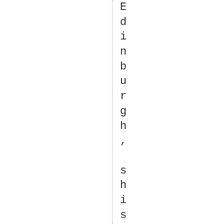Edinburgh, s history... [...] June 1